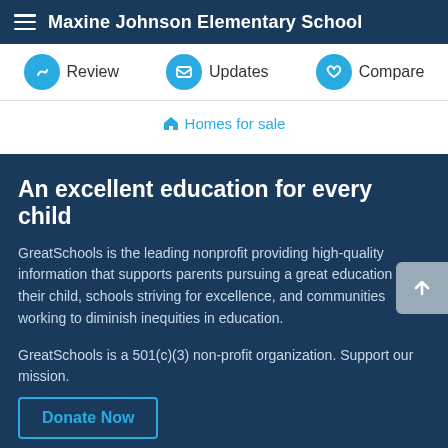Maxine Johnson Elementary School
Review  Updates  Compare
Homes for sale
An excellent education for every child
GreatSchools is the leading nonprofit providing high-quality information that supports parents pursuing a great education for their child, schools striving for excellence, and communities working to diminish inequities in education.
GreatSchools is a 501(c)(3) non-profit organization. Support our mission.
Donate Now
Join us
Supporters  Licensing  Sponsorship  Advertising  Careers
Learn more